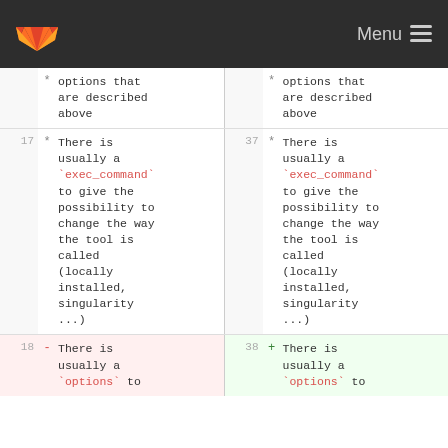GitLab navigation bar with logo and Menu
| Old line | Change | Old content | New line | Change | New content |
| --- | --- | --- | --- | --- | --- |
|  | * | options that
are described
above |  | * | options that
are described
above |
| 17 | * | There is
usually a
`exec_command`
to give the
possibility to
change the way
the tool is
called
(locally
installed,
singularity
...) | 37 | * | There is
usually a
`exec_command`
to give the
possibility to
change the way
the tool is
called
(locally
installed,
singularity
...) |
| 18 | - | There is
usually a
`options` to | 38 | + | There is
usually a
`options` to |